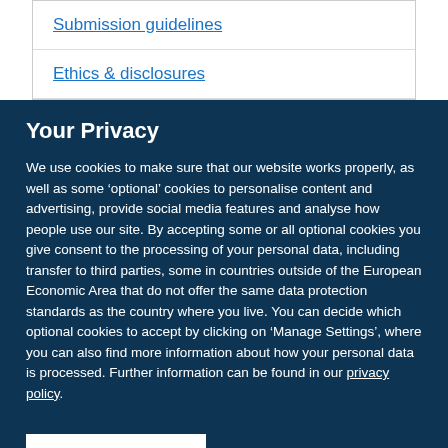Submission guidelines
Ethics & disclosures
Your Privacy
We use cookies to make sure that our website works properly, as well as some ‘optional’ cookies to personalise content and advertising, provide social media features and analyse how people use our site. By accepting some or all optional cookies you give consent to the processing of your personal data, including transfer to third parties, some in countries outside of the European Economic Area that do not offer the same data protection standards as the country where you live. You can decide which optional cookies to accept by clicking on ‘Manage Settings’, where you can also find more information about how your personal data is processed. Further information can be found in our privacy policy.
Accept all cookies
Manage preferences